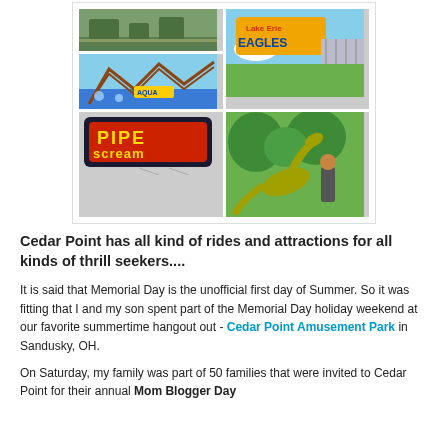[Figure (photo): Collage of Cedar Point Amusement Park photos: park grounds, roller coaster, Lake Erie Eagles ride sign, Pipe Scream ride sign, and a person next to a dinosaur animatronic exhibit]
Cedar Point has all kind of rides and attractions for all kinds of thrill seekers....
It is said that Memorial Day is the unofficial first day of Summer. So it was fitting that I and my son spent part of the Memorial Day holiday weekend at our favorite summertime hangout out - Cedar Point Amusement Park in Sandusky, OH.
On Saturday, my family was part of 50 families that were invited to Cedar Point for their annual Mom Blogger Day